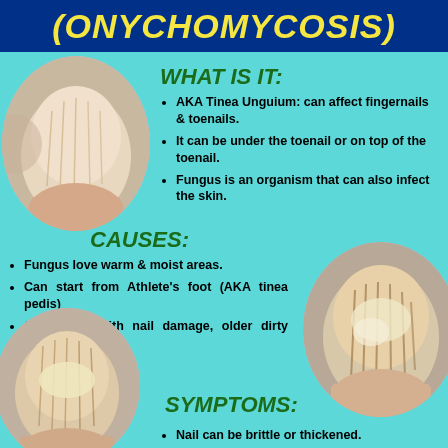(ONYCHOMYCOSIS)
WHAT IS IT:
AKA Tinea Unguium: can affect fingernails & toenails.
It can be under the toenail or on top of the toenail.
Fungus is an organism that can also infect the skin.
[Figure (photo): Close-up photo of a thickened, discolored fungal toenail in a circular frame (top left)]
CAUSES:
Fungus love warm & moist areas.
Can start from Athlete's foot (AKA tinea pedis)
Can occur with nail damage, older dirty shoes & socks.
[Figure (photo): Close-up photo of a severely thickened, crumbly fungal toenail in a circular frame (middle right)]
SYMPTOMS:
Nail can be brittle or thickened.
[Figure (photo): Close-up photo of a fungal toenail in a circular frame (bottom left)]